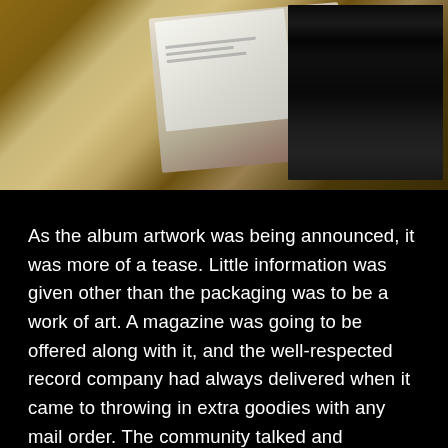[Figure (photo): A photograph showing what appears to be album packaging or boxes, including a white box/package and a dark vinyl record or sleeve, placed on a wooden surface.]
As the album artwork was being announced, it was more of a tease. Little information was given other than the packaging was to be a work of art. A magazine was going to be offered along with it, and the well-respected record company had always delivered when it came to throwing in extra goodies with any mail order. The community talked and theorized on how good this new album was going to be. The three singled were like kindling to the fire. Then came the email that